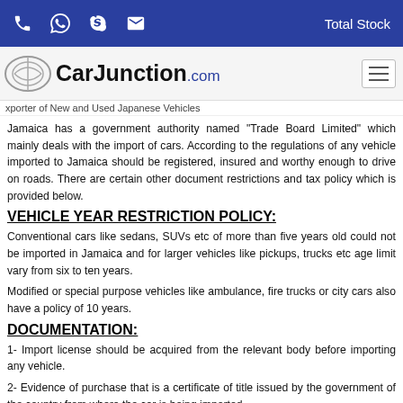Total Stock
[Figure (logo): CarJunction.com logo with car icon]
xporter of New and Used Japanese Vehicles
Jamaica has a government authority named "Trade Board Limited" which mainly deals with the import of cars. According to the regulations of any vehicle imported to Jamaica should be registered, insured and worthy enough to drive on roads. There are certain other document restrictions and tax policy which is provided below.
VEHICLE YEAR RESTRICTION POLICY:
Conventional cars like sedans, SUVs etc of more than five years old could not be imported in Jamaica and for larger vehicles like pickups, trucks etc age limit vary from six to ten years.
Modified or special purpose vehicles like ambulance, fire trucks or city cars also have a policy of 10 years.
DOCUMENTATION:
1- Import license should be acquired from the relevant body before importing any vehicle.
2- Evidence of purchase that is a certificate of title issued by the government of the country from where the car is being imported.